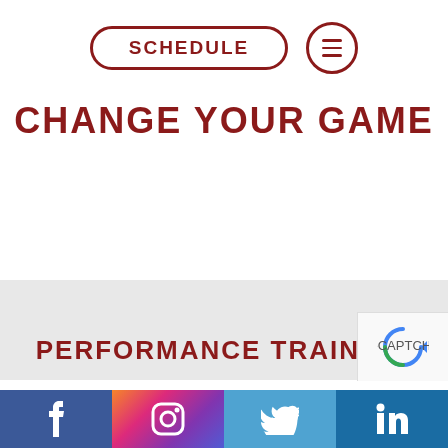[Figure (screenshot): Navigation bar with SCHEDULE button (rounded rectangle border, dark red) and hamburger menu icon (circle border, dark red)]
CHANGE YOUR GAME
PERFORMANCE TRAINING
[Figure (infographic): Social media footer bar with Facebook, Instagram, Twitter, LinkedIn icons]